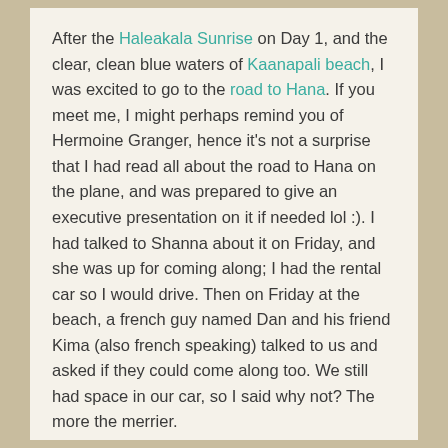After the Haleakala Sunrise on Day 1, and the clear, clean blue waters of Kaanapali beach, I was excited to go to the road to Hana. If you meet me, I might perhaps remind you of Hermoine Granger, hence it's not a surprise that I had read all about the road to Hana on the plane, and was prepared to give an executive presentation on it if needed lol :). I had talked to Shanna about it on Friday, and she was up for coming along; I had the rental car so I would drive. Then on Friday at the beach, a french guy named Dan and his friend Kima (also french speaking) talked to us and asked if they could come along too. We still had space in our car, so I said why not? The more the merrier.
As you can see, I was becoming part of a french speaking clan which meant I was intently staring at them with focused, narrow eyes trying to grasp